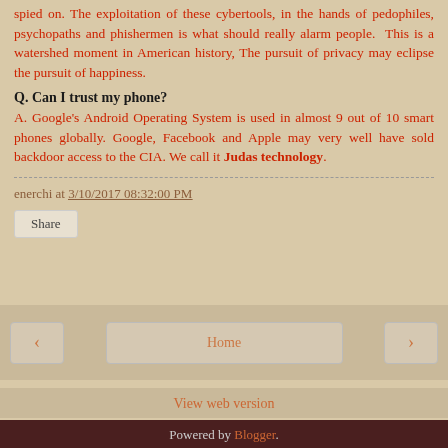spied on. The exploitation of these cybertools, in the hands of pedophiles, psychopaths and phishermen is what should really alarm people.  This is a watershed moment in American history, The pursuit of privacy may eclipse the pursuit of happiness.
Q. Can I trust my phone?
A. Google's Android Operating System is used in almost 9 out of 10 smart phones globally. Google, Facebook and Apple may very well have sold backdoor access to the CIA. We call it Judas technology.
enerchi at 3/10/2017 08:32:00 PM
Share
Home
View web version
Powered by Blogger.